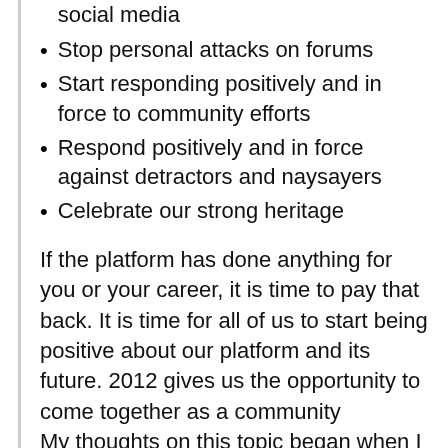social media
Stop personal attacks on forums
Start responding positively and in force to community efforts
Respond positively and in force against detractors and naysayers
Celebrate our strong heritage
If the platform has done anything for you or your career, it is time to pay that back. It is time for all of us to start being positive about our platform and its future. 2012 gives us the opportunity to come together as a community
My thoughts on this topic began when I